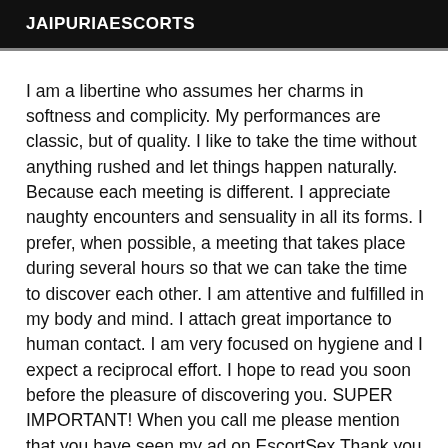JAIPURIAESCORTS
I am a libertine who assumes her charms in softness and complicity. My performances are classic, but of quality. I like to take the time without anything rushed and let things happen naturally. Because each meeting is different. I appreciate naughty encounters and sensuality in all its forms. I prefer, when possible, a meeting that takes place during several hours so that we can take the time to discover each other. I am attentive and fulfilled in my body and mind. I attach great importance to human contact. I am very focused on hygiene and I expect a reciprocal effort. I hope to read you soon before the pleasure of discovering you. SUPER IMPORTANT! When you call me please mention that you have seen my ad on EscortSex Thank you for your effort! my rates 300 1H or 400 1H hotel 2H 700 the Night 2000 THE Evening 1500 171cm 54 kg years 24 Chest 90D I am in the North Aurora 15 North Aurora